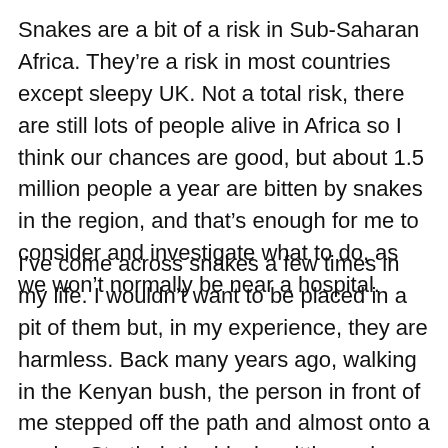Snakes are a bit of a risk in Sub-Saharan Africa. They're a risk in most countries except sleepy UK. Not a total risk, there are still lots of people alive in Africa so I think our chances are good, but about 1.5 million people a year are bitten by snakes in the region, and that's enough for me to consider and investigate what to do, as we won't normally be near a hospital.
I've come across snakes a few times in my life. I wouldn't want to be placed in a pit of them but, in my experience, they are harmless. Back many years ago, walking in the Kenyan bush, the person in front of me stepped off the path and almost onto a snake. Startled, the black spitting cobra fled in my direction, its head reared up ready to attack. To be fair to the cobra, it was fleeing from a fat foot landing on it during its afternoon nap. Luckily, as I was dawdling a few metres back, I